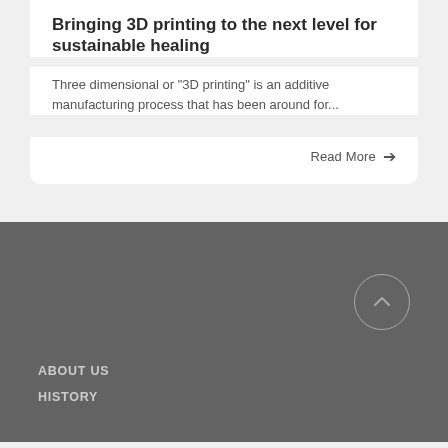Bringing 3D printing to the next level for sustainable healing
Three dimensional or "3D printing" is an additive manufacturing process that has been around for...
Read More →
ABOUT US
HISTORY